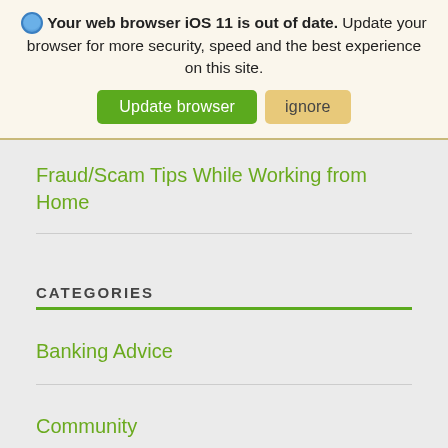Your web browser iOS 11 is out of date. Update your browser for more security, speed and the best experience on this site.
Update browser | ignore
Fraud/Scam Tips While Working from Home
CATEGORIES
Banking Advice
Community